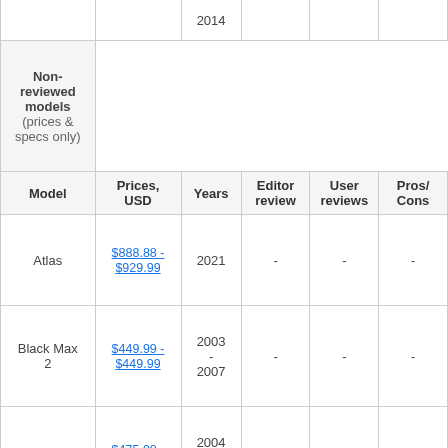| Model | Prices, USD | Years | Editor review | User reviews | Pros/Cons |
| --- | --- | --- | --- | --- | --- |
| 2014 |  |  |  |  |  |
| Non-reviewed models (prices & specs only) |  |  |  |  |  |
| Model | Prices, USD | Years | Editor review | User reviews | Pros/Cons |
| Atlas | $888.88 - $929.99 | 2021 | - | - | - |
| Black Max 2 | $449.99 - $449.99 | 2003 - 2007 | - | - | - |
| Classic | $475.00 - $550.00 | 2004 - 2007 | - | - | - |
|  | $199.99 - | 2001 |  |  |  |